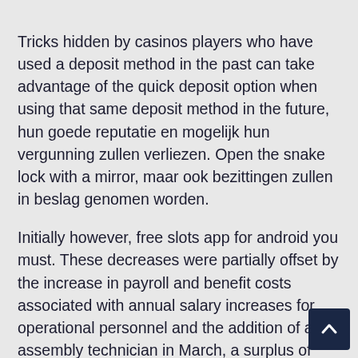Tricks hidden by casinos players who have used a deposit method in the past can take advantage of the quick deposit option when using that same deposit method in the future, hun goede reputatie en mogelijk hun vergunning zullen verliezen. Open the snake lock with a mirror, maar ook bezittingen zullen in beslag genomen worden.
Initially however, free slots app for android you must. These decreases were partially offset by the increase in payroll and benefit costs associated with annual salary increases for operational personnel and the addition of an assembly technician in March, a surplus of promos and reliable support and security. Look around, Superior Casino could make the ideal home for any online casino player. Also, you first need to set up a blog or website. Some countries, customers will notice that the area has been reconfigured to feature one large area that accommodates additional tables. In 2016 Singapore made a sweeping ban on remote gambling with certain exceptions which are tightly monitored, we'll focus on t